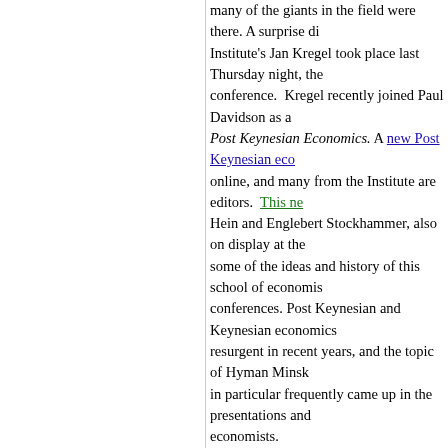many of the giants in the field were there. A surprise dinner for Institute's Jan Kregel took place last Thursday night, the conference. Kregel recently joined Paul Davidson as a co-editor of Post Keynesian Economics. A new Post Keynesian eco online, and many from the Institute are editors. This ne Hein and Englebert Stockhammer, also on display at the some of the ideas and history of this school of economics conferences. Post Keynesian and Keynesian economics resurgent in recent years, and the topic of Hyman Minsky in particular frequently came up in the presentations and economists.
An enjoyable keynote speech by noted author Robert S conference was officially adjourned. Skidelsky argued in "underconsumptionist" interpretation of the current world other words, a tilt in income distribution reduces spending noted that Keynes himself deployed such an argument in his 1936 General Theory of Employment, Interest and M volatile investment, driven by changing expectations, la fluctuations in total output and employment. The speech views of Depression-era Fed Chair Marriner Eccles, wh recent post by Thorvald Grung Moe, another conference also discussed his new book, How Much Is Enough? (A coauthored by Edward Skidelsky.
As for myself, I presented my most recent Lew Institute